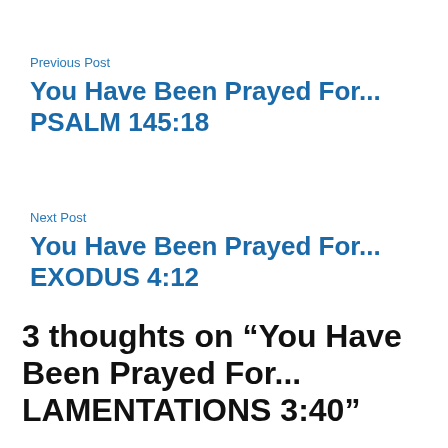Previous Post
You Have Been Prayed For... PSALM 145:18
Next Post
You Have Been Prayed For... EXODUS 4:12
3 thoughts on “You Have Been Prayed For... LAMENTATIONS 3:40”